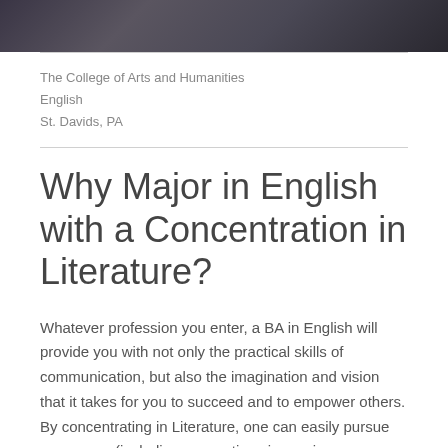[Figure (photo): Banner photo showing people, partially visible at the top of the page]
The College of Arts and Humanities
English
St. Davids, PA
Why Major in English with a Concentration in Literature?
Whatever profession you enter, a BA in English will provide you with not only the practical skills of communication, but also the imagination and vision that it takes for you to succeed and to empower others. By concentrating in Literature, one can easily pursue any career (including occupations in nursing,